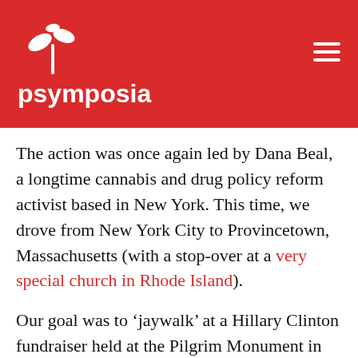psymposia
The action was once again led by Dana Beal, a longtime cannabis and drug policy reform activist based in New York. This time, we drove from New York City to Provincetown, Massachusetts (with a stop-over at a very special church in Rhode Island).
Our goal was to ‘jaywalk’ at a Hillary Clinton fundraiser held at the Pilgrim Monument in the center of town. But this time we faced a concerted opposition from law enforcement and a lukewarm reception from the locals. More importantly, we let the chaos and confusion divide us, as tempers flared to rival